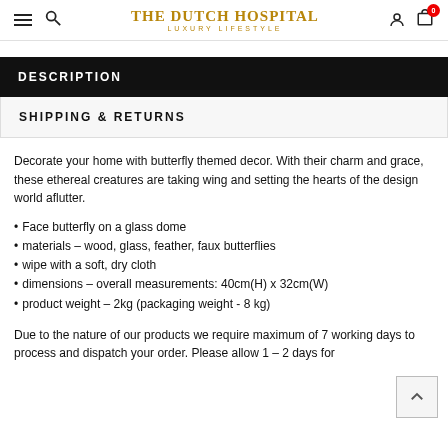THE DUTCH HOSPITAL LUXURY LIFESTYLE
DESCRIPTION
SHIPPING & RETURNS
Decorate your home with butterfly themed decor. With their charm and grace, these ethereal creatures are taking wing and setting the hearts of the design world aflutter.
Face butterfly on a glass dome
materials – wood, glass, feather, faux butterflies
wipe with a soft, dry cloth
dimensions – overall measurements: 40cm(H) x 32cm(W)
product weight – 2kg (packaging weight - 8 kg)
Due to the nature of our products we require maximum of 7 working days to process and dispatch your order. Please allow 1 – 2 days for